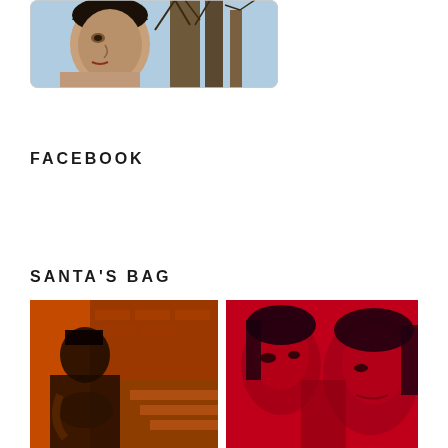[Figure (photo): Young man with dark hair, shirtless, photographed outdoors with bare trees in background, in a rounded-corner frame]
FACEBOOK
SANTA'S BAG
[Figure (photo): Orange-toned photo of a person outdoors near brick building steps]
[Figure (photo): Red-toned photo of two women, close-up portrait]